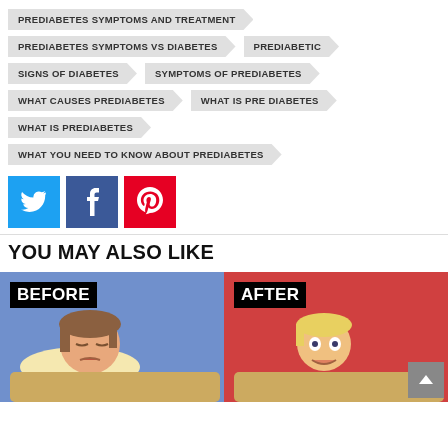PREDIABETES SYMPTOMS AND TREATMENT
PREDIABETES SYMPTOMS VS DIABETES
PREDIABETIC
SIGNS OF DIABETES
SYMPTOMS OF PREDIABETES
WHAT CAUSES PREDIABETES
WHAT IS PRE DIABETES
WHAT IS PREDIABETES
WHAT YOU NEED TO KNOW ABOUT PREDIABETES
[Figure (infographic): Social sharing buttons: Twitter (blue), Facebook (dark blue), Pinterest (red)]
YOU MAY ALSO LIKE
[Figure (illustration): Before and After illustration showing a person sleeping - left side labeled BEFORE with blue background, right side labeled AFTER with red background]